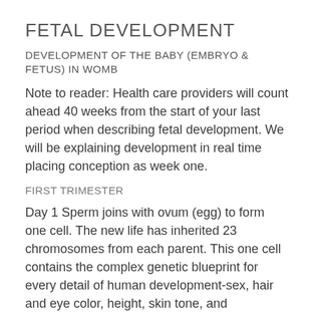FETAL DEVELOPMENT
DEVELOPMENT OF THE BABY (EMBRYO & FETUS) IN WOMB
Note to reader: Health care providers will count ahead 40 weeks from the start of your last period when describing fetal development. We will be explaining development in real time placing conception as week one.
FIRST TRIMESTER
Day 1 Sperm joins with ovum (egg) to form one cell. The new life has inherited 23 chromosomes from each parent. This one cell contains the complex genetic blueprint for every detail of human development-sex, hair and eye color, height, skin tone, and